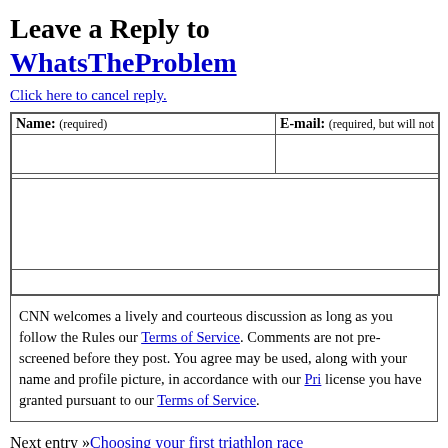Leave a Reply to WhatsTheProblem
Click here to cancel reply.
| Name: (required) | E-mail: (required, but will not) |
| --- | --- |
|  |  |
CNN welcomes a lively and courteous discussion as long as you follow the Rules our Terms of Service. Comments are not pre-screened before they post. You agree may be used, along with your name and profile picture, in accordance with our Pri license you have granted pursuant to our Terms of Service.
Next entry »Choosing your first triathlon race
« Previous entryThese parties go way beyond Tupperware